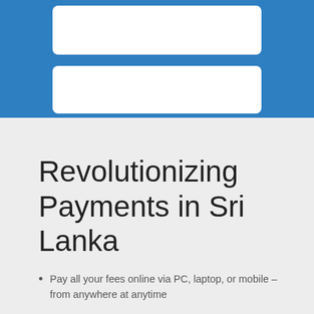[Figure (illustration): Blue background section with two white rounded rectangles representing UI form fields or card elements]
Revolutionizing Payments in Sri Lanka
Pay all your fees online via PC, laptop, or mobile – from anywhere at anytime